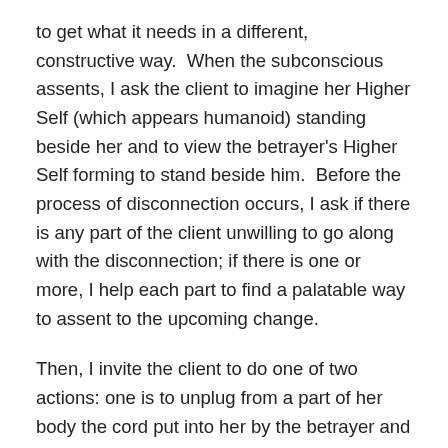to get what it needs in a different, constructive way.  When the subconscious assents, I ask the client to imagine her Higher Self (which appears humanoid) standing beside her and to view the betrayer's Higher Self forming to stand beside him.  Before the process of disconnection occurs, I ask if there is any part of the client unwilling to go along with the disconnection; if there is one or more, I help each part to find a palatable way to assent to the upcoming change.
Then, I invite the client to do one of two actions: one is to unplug from a part of her body the cord put into her by the betrayer and put the now unplugged end into the same part of the body of the betrayer's Higher Self, e.g, from the client's right hand to the right hand of the betrayer's Higher Self.  The other action is to unplug a cord the client had put into the betrayer and plug that cord into the betrayer's Higher Self.